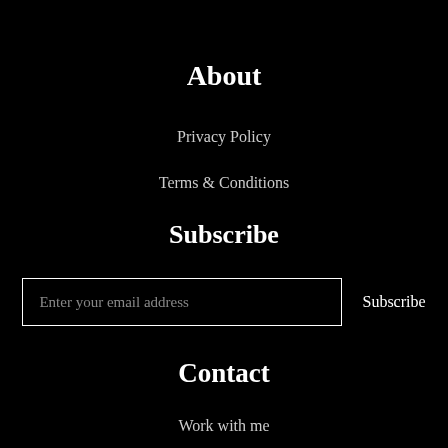About
Privacy Policy
Terms & Conditions
Subscribe
Enter your email address
Subscribe
Contact
Work with me